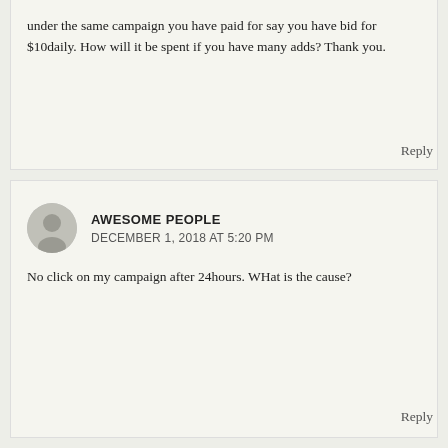under the same campaign you have paid for say you have bid for $10daily. How will it be spent if you have many adds? Thank you.
Reply
AWESOME PEOPLE
DECEMBER 1, 2018 AT 5:20 PM
No click on my campaign after 24hours. WHat is the cause?
Reply